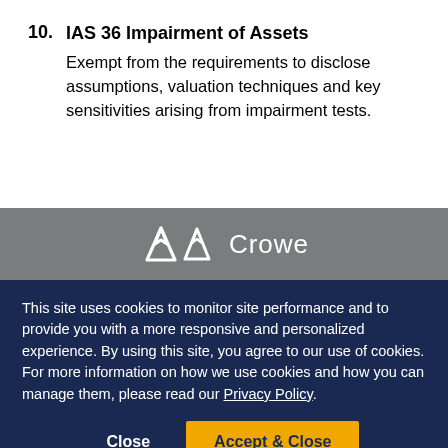10. IAS 36 Impairment of Assets — Exempt from the requirements to disclose assumptions, valuation techniques and key sensitivities arising from impairment tests.
[Figure (logo): Crowe logo — white mountain/triangle icon followed by the word 'Crowe' in white text on a grey background]
This site uses cookies to monitor site performance and to provide you with a more responsive and personalized experience. By using this site, you agree to our use of cookies. For more information on how we use cookies and how you can manage them, please read our Privacy Policy.